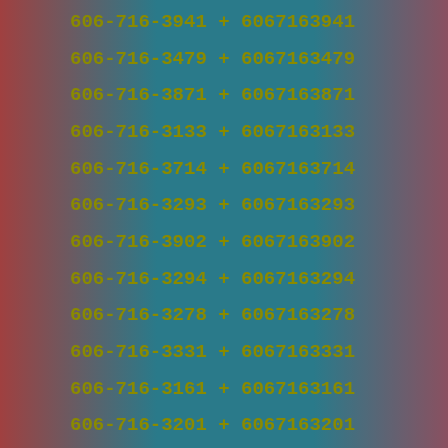606-716-3941 + 6067163941
606-716-3479 + 6067163479
606-716-3871 + 6067163871
606-716-3133 + 6067163133
606-716-3714 + 6067163714
606-716-3293 + 6067163293
606-716-3902 + 6067163902
606-716-3294 + 6067163294
606-716-3278 + 6067163278
606-716-3331 + 6067163331
606-716-3161 + 6067163161
606-716-3201 + 6067163201
606-716-3547 + 6067163547
606-716-3757 + 6067163757
606-716-3314 + 6067163314
606-716-3399 + 6067163399
606-716-3349 + 6067163349
606-716-3817 + 6067163817
606-716-3579 + 6067163579
606-716-3896 + 6067163896
606-716-3780 + 6067163780
606-716-3328 + 6067163328